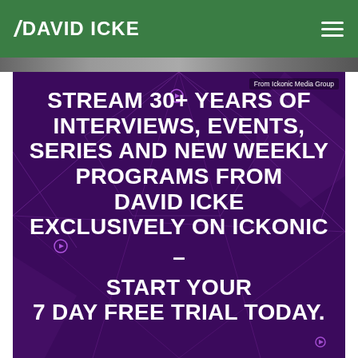DAVID ICKE
[Figure (screenshot): A purple advertisement banner with geometric line patterns in the background. White bold text reads: STREAM 30+ YEARS OF INTERVIEWS, EVENTS, SERIES AND NEW WEEKLY PROGRAMS FROM DAVID ICKE EXCLUSIVELY ON ICKONIC - START YOUR 7 DAY FREE TRIAL TODAY. A small label in the top-right reads 'From Ickonic Media Group'.]